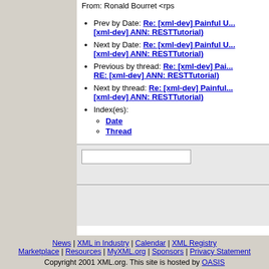From: Ronald Bourret <rps
Prev by Date: Re: [xml-dev] Painful U... [xml-dev] ANN: RESTTutorial)
Next by Date: Re: [xml-dev] Painful U... [xml-dev] ANN: RESTTutorial)
Previous by thread: Re: [xml-dev] Pai... RE: [xml-dev] ANN: RESTTutorial)
Next by thread: Re: [xml-dev] Painful... [xml-dev] ANN: RESTTutorial)
Index(es): Date, Thread
News | XML in Industry | Calendar | XML Registry | Marketplace | Resources | MyXML.org | Sponsors | Privacy Statement
Copyright 2001 XML.org. This site is hosted by OASIS